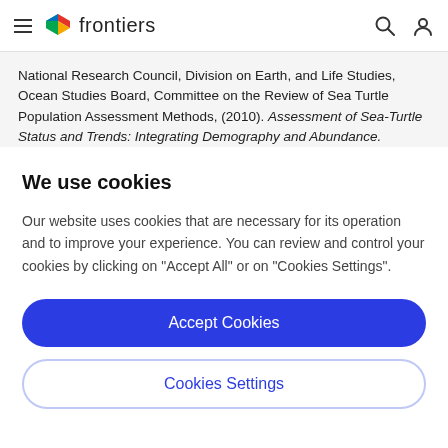frontiers
National Research Council, Division on Earth, and Life Studies, Ocean Studies Board, Committee on the Review of Sea Turtle Population Assessment Methods, (2010). Assessment of Sea-Turtle Status and Trends: Integrating Demography and Abundance. Washington DC: The National Academies Press. 174
We use cookies
Our website uses cookies that are necessary for its operation and to improve your experience. You can review and control your cookies by clicking on "Accept All" or on "Cookies Settings".
Accept Cookies
Cookies Settings